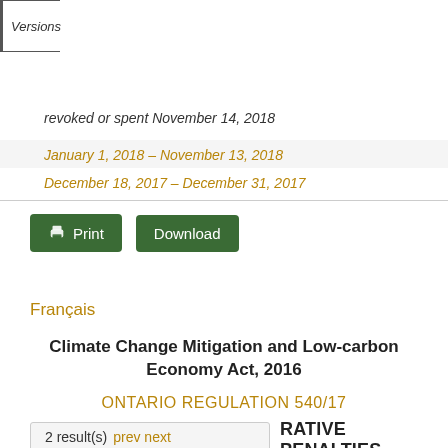Versions
revoked or spent November 14, 2018
January 1, 2018 – November 13, 2018
December 18, 2017 – December 31, 2017
[Figure (other): Print and Download buttons]
Français
Climate Change Mitigation and Low-carbon Economy Act, 2016
ONTARIO REGULATION 540/17
2 result(s) prev next
RATIVE PENALTIES